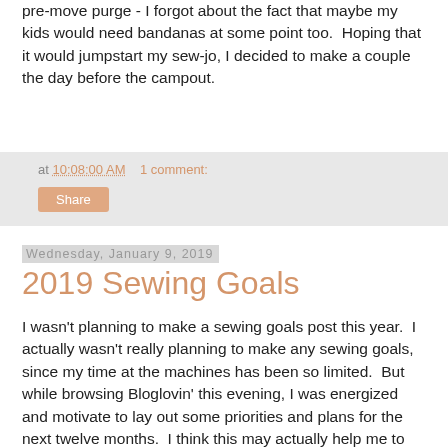pre-move purge - I forgot about the fact that maybe my kids would need bandanas at some point too.  Hoping that it would jumpstart my sew-jo, I decided to make a couple the day before the campout.
at 10:08:00 AM    1 comment:
Share
Wednesday, January 9, 2019
2019 Sewing Goals
I wasn't planning to make a sewing goals post this year.  I actually wasn't really planning to make any sewing goals, since my time at the machines has been so limited.  But while browsing Bloglovin' this evening, I was energized and motivate to lay out some priorities and plans for the next twelve months.  I think this may actually help me to maximize the sewing time that I do have, since I won't be floundering around wondering what to do.